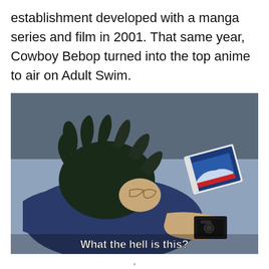establishment developed with a manga series and film in 2001. That same year, Cowboy Bebop turned into the top anime to air on Adult Swim.
[Figure (illustration): Anime still from Cowboy Bebop showing a character (Spike Spiegel) lying on a table, holding a small object close to his face and examining it. Another object (appears to be a VHS tape or book) lies nearby on the table. White subtitle text at the bottom reads 'What the hell is this?']